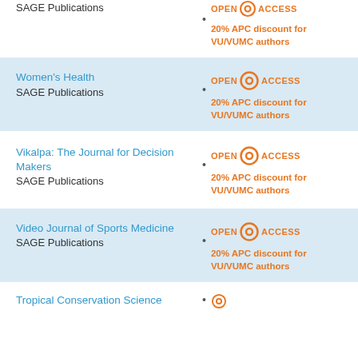SAGE Publications
OPEN ACCESS
20% APC discount for VU/VUMC authors
Women's Health
SAGE Publications
OPEN ACCESS
20% APC discount for VU/VUMC authors
Vikalpa: The Journal for Decision Makers
SAGE Publications
OPEN ACCESS
20% APC discount for VU/VUMC authors
Video Journal of Sports Medicine
SAGE Publications
OPEN ACCESS
20% APC discount for VU/VUMC authors
Tropical Conservation Science